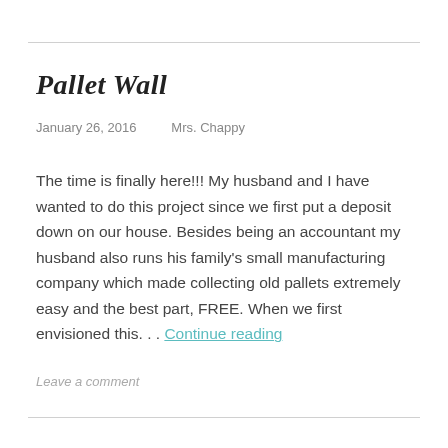Pallet Wall
January 26, 2016    Mrs. Chappy
The time is finally here!!! My husband and I have wanted to do this project since we first put a deposit down on our house. Besides being an accountant my husband also runs his family's small manufacturing company which made collecting old pallets extremely easy and the best part, FREE. When we first envisioned this. . . Continue reading
Leave a comment